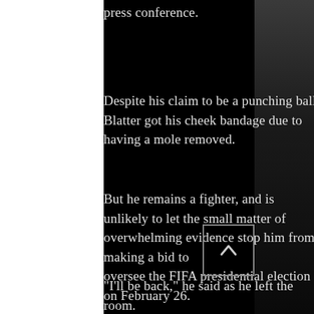press conference.
Despite his claim to be a punching ball, Blatter got his cheek bandage due to having a mole removed.
But he remains a fighter, and is unlikely to let the small matter of overwhelming evidence stop him from making a bid to oversee the FIFA presidential election on February 26.
"I'll be back," he said as he left the room.